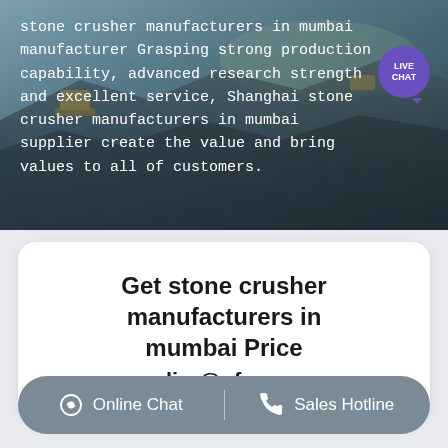[Figure (photo): Aerial view of a quarry/mining site with heavy machinery, overlaid with white text describing stone crusher manufacturers in Mumbai.]
stone crusher manufacturers in mumbai manufacturer Grasping strong production capability, advanced research strength and excellent service, Shanghai stone crusher manufacturers in mumbai supplier create the value and bring values to all of customers.
Get stone crusher manufacturers in mumbai Price supplier@pfpew.com
Online Chat | Sales Hotline